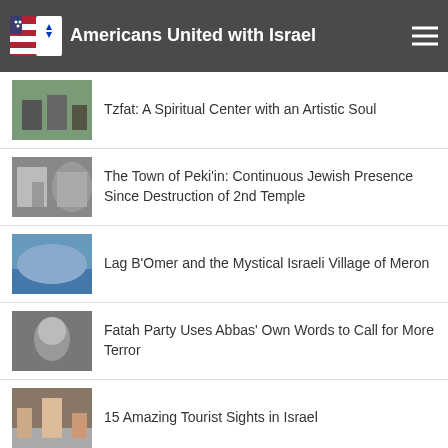Americans United with Israel
Tzfat: A Spiritual Center with an Artistic Soul
The Town of Peki'in: Continuous Jewish Presence Since Destruction of 2nd Temple
Lag B'Omer and the Mystical Israeli Village of Meron
Fatah Party Uses Abbas' Own Words to Call for More Terror
15 Amazing Tourist Sights in Israel
'My Insane Israeli Road Trip'
People of Israel
Israeli President-elect Herzog: 'Yoni Netanyahu Has Become a Symbol of Courage and Heroism'